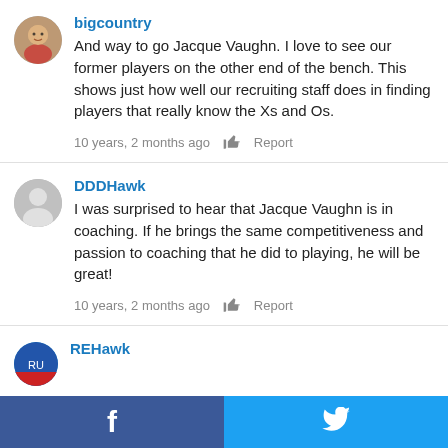bigcountry
And way to go Jacque Vaughn. I love to see our former players on the other end of the bench. This shows just how well our recruiting staff does in finding players that really know the Xs and Os.
10 years, 2 months ago   Report
DDDHawk
I was surprised to hear that Jacque Vaughn is in coaching. If he brings the same competitiveness and passion to coaching that he did to playing, he will be great!
10 years, 2 months ago   Report
REHawk